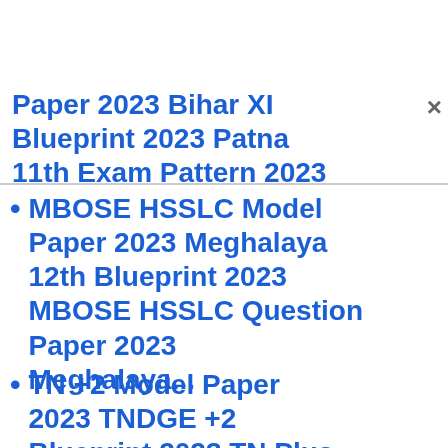Paper 2023 Bihar XI Blueprint 2023 Patna 11th Exam Pattern 2023
MBOSE HSSLC Model Paper 2023 Meghalaya 12th Blueprint 2023 MBOSE HSSLC Question Paper 2023 Meghalaya...
TN +2 Model Paper 2023 TNDGE +2 Blueprint 2023 TN Plus